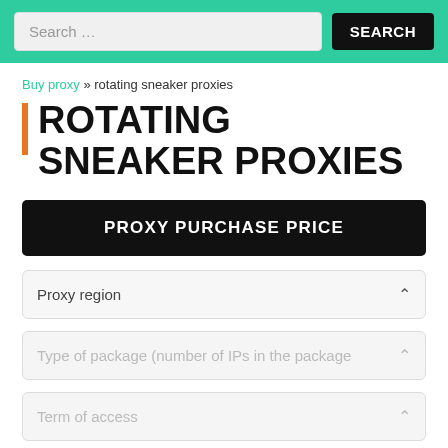Search ... SEARCH
Buy proxy » rotating sneaker proxies
ROTATING SNEAKER PROXIES
PROXY PURCHASE PRICE
Proxy region
Type of package (number of IPs in the package
Term of access